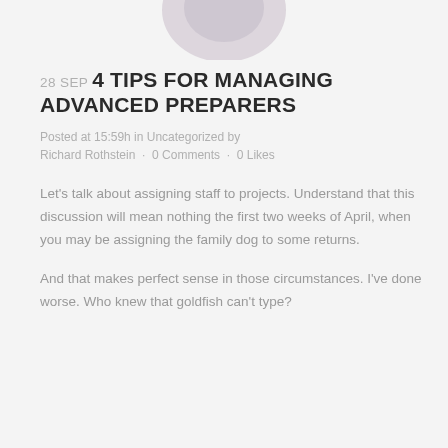[Figure (photo): Partial view of a person or object at the top of the page, cropped, appearing on a light gray background]
28 SEP 4 TIPS FOR MANAGING ADVANCED PREPARERS
Posted at 15:59h in Uncategorized by Richard Rothstein · 0 Comments · 0 Likes
Let's talk about assigning staff to projects. Understand that this discussion will mean nothing the first two weeks of April, when you may be assigning the family dog to some returns.
And that makes perfect sense in those circumstances. I've done worse. Who knew that goldfish can't type?